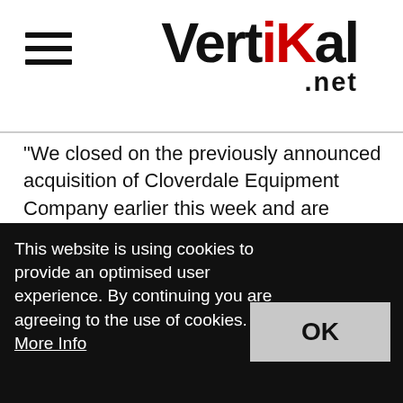Vertikal.net
"We closed on the previously announced acquisition of Cloverdale Equipment Company earlier this week and are confident we can continue to execute our organic growth strategy that is supplemented with strategic M&A. We raised our guidance for the full year 2022 based on our outlook for continued strong momentum in operating performance."
Vertikal Comment
This website is using cookies to provide an optimised user experience. By continuing you are agreeing to the use of cookies. More Info